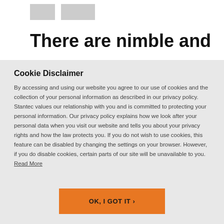[Logo boxes]
There are nimble and
Cookie Disclaimer
By accessing and using our website you agree to our use of cookies and the collection of your personal information as described in our privacy policy. Stantec values our relationship with you and is committed to protecting your personal information. Our privacy policy explains how we look after your personal data when you visit our website and tells you about your privacy rights and how the law protects you. If you do not wish to use cookies, this feature can be disabled by changing the settings on your browser. However, if you do disable cookies, certain parts of our site will be unavailable to you. Read More
OK, I GOT IT ›